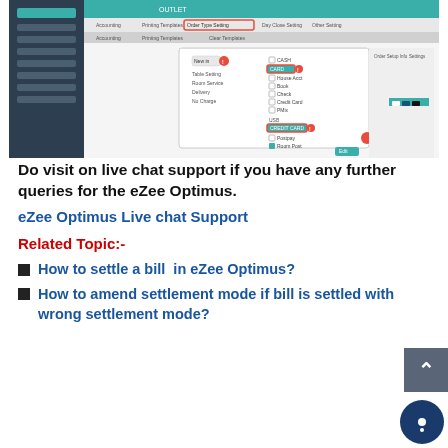[Figure (screenshot): Screenshot of eZee Optimus software interface showing Order Type Setting configuration panel with various payment options like Cash, Card, Credit Card, etc., with some items highlighted in red circles]
Do visit on live chat support if you have any further queries for the eZee Optimus.
eZee Optimus Live chat Support
Related Topic:-
How to settle a bill in eZee Optimus?
How to amend settlement mode if bill is settled with wrong settlement mode?